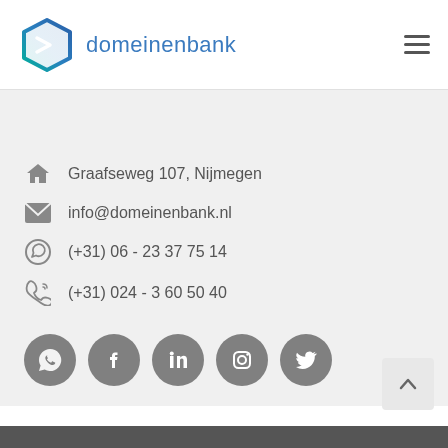domeinenbank
Graafseweg 107, Nijmegen
info@domeinenbank.nl
(+31) 06 - 23 37 75 14
(+31) 024 - 3 60 50 40
[Figure (logo): Five social media icon buttons (WhatsApp, Facebook, LinkedIn, Instagram, Twitter) in gray circles]